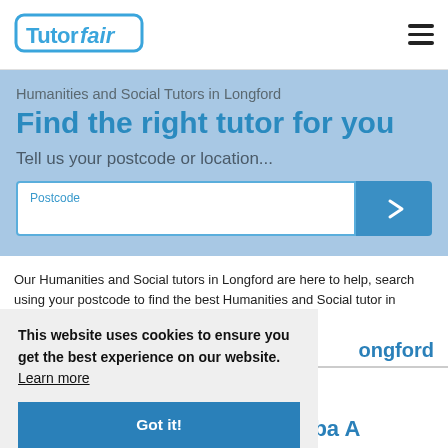TutorFair [logo] [hamburger menu]
Humanities and Social Tutors in Longford
Find the right tutor for you
Tell us your postcode or location...
Postcode [input field] [arrow button]
Our Humanities and Social tutors in Longford are here to help, search using your postcode to find the best Humanities and Social tutor in Longford
ongford
This website uses cookies to ensure you get the best experience on our website.  Learn more
Got it!
Juba A